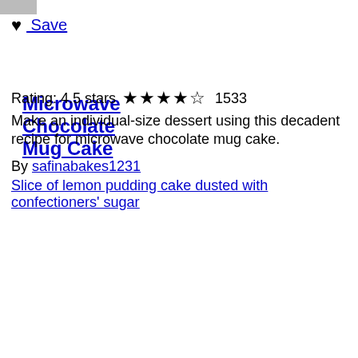[Figure (other): Small grey rectangle button in top left corner]
♥ Save
Microwave Chocolate Mug Cake
Rating: 4.5 stars ★★★★½ 1533
Make an individual-size dessert using this decadent recipe for microwave chocolate mug cake.
By safinabakes1231
Slice of lemon pudding cake dusted with confectioners' sugar